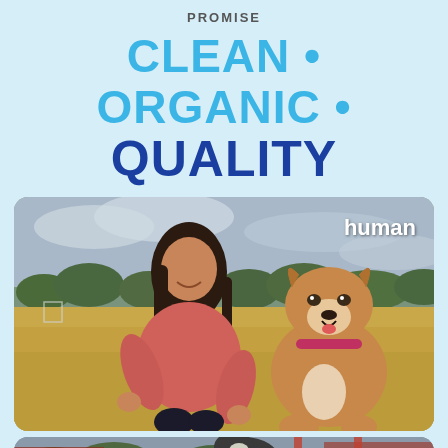PROMISE
CLEAN • ORGANIC • QUALITY
[Figure (photo): A smiling woman in a pink sweater kneeling outdoors next to a tan and white dog sitting upright, both on a dry grass field with trees and cloudy sky in the background. The word 'human' appears in white text in the upper right of the image.]
[Figure (photo): Partially visible second photo showing a dog outdoors, cropped at the bottom of the page.]